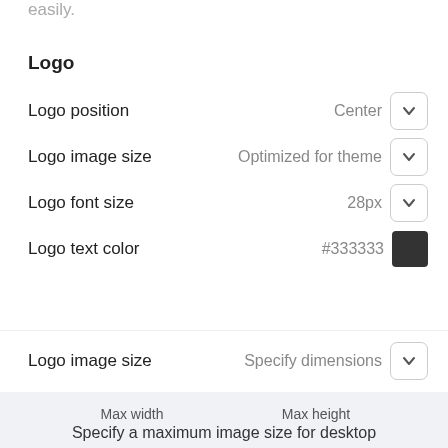easily.
Logo
Logo position	Center
Logo image size	Optimized for theme
Logo font size	28px
Logo text color	#333333
Logo image size	Specify dimensions
Max width  250  Max height  100
Specify a maximum image size for desktop